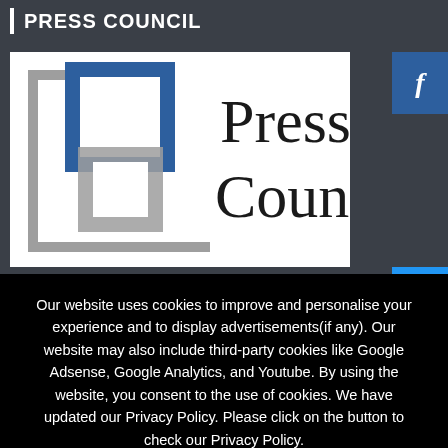PRESS COUNCIL
[Figure (logo): Press Council logo: stylized square icon with blue and gray overlapping squares on the left, and 'Press Council' text in large serif font on the right, on a white background]
Our website uses cookies to improve and personalise your experience and to display advertisements(if any). Our website may also include third-party cookies like Google Adsense, Google Analytics, and Youtube. By using the website, you consent to the use of cookies. We have updated our Privacy Policy. Please click on the button to check our Privacy Policy.
OK, I AGREE
PRIVACY POLICY